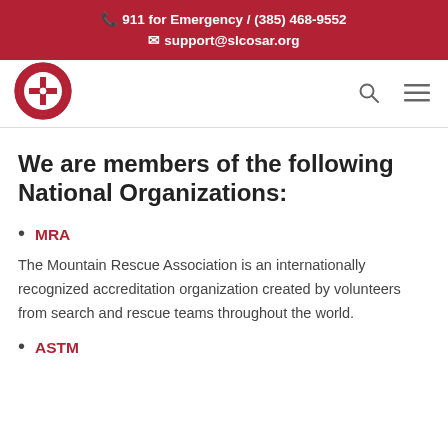911 for Emergency / (385) 468-9552
support@slcosar.org
[Figure (logo): Sheriff Mountain Rescue Salt Lake County circular logo in red and white]
We are members of the following National Organizations:
MRA
The Mountain Rescue Association is an internationally recognized accreditation organization created by volunteers from search and rescue teams throughout the world.
ASTM